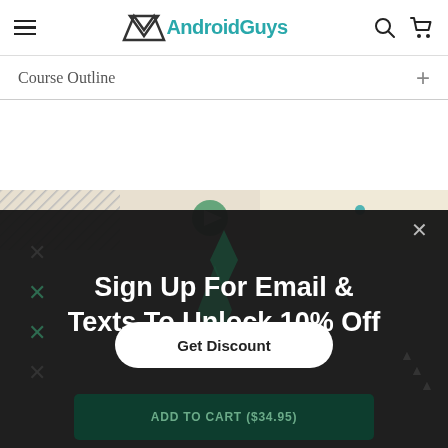AndroidGuys
Course Outline +
[Figure (screenshot): Partial map/background image strip visible behind the dark modal overlay]
Sign Up For Email & Texts To Unlock 10% Off
Get Discount
ADD TO CART ($34.95)